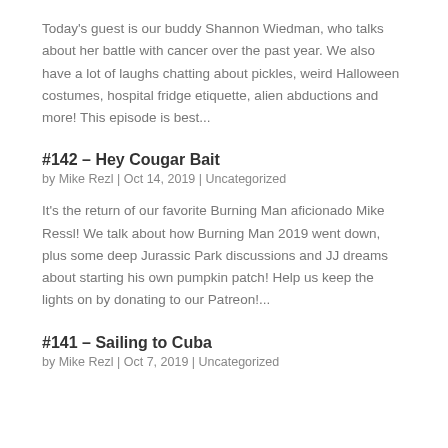Today's guest is our buddy Shannon Wiedman, who talks about her battle with cancer over the past year. We also have a lot of laughs chatting about pickles, weird Halloween costumes, hospital fridge etiquette, alien abductions and more! This episode is best...
#142 – Hey Cougar Bait
by Mike Rezl | Oct 14, 2019 | Uncategorized
It's the return of our favorite Burning Man aficionado Mike Ressl! We talk about how Burning Man 2019 went down, plus some deep Jurassic Park discussions and JJ dreams about starting his own pumpkin patch! Help us keep the lights on by donating to our Patreon!...
#141 – Sailing to Cuba
by Mike Rezl | Oct 7, 2019 | Uncategorized